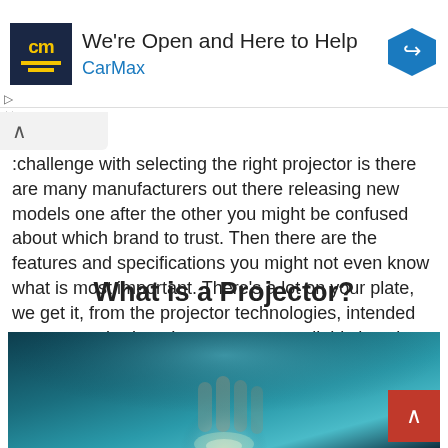[Figure (other): CarMax advertisement banner with logo, headline 'We're Open and Here to Help', 'CarMax' brand name in blue, and a blue directional sign icon]
challenge with selecting the right projector is there are many manufacturers out there releasing new models one after the other you might be confused about which brand to trust. Then there are the features and specifications you might not even know what is most important. There's a lot on your plate, we get it, from the projector technologies, intended use to your budget. Let us save you all this hassle.
What is a Projector?
[Figure (photo): Dark teal/blue background photo showing a hand or fingers near a glowing light source, likely a projector lens]